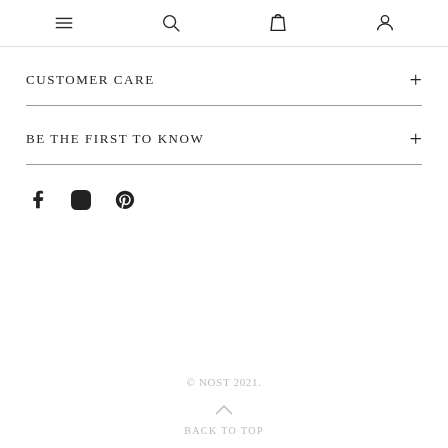Navigation bar with menu, search, bag, and account icons
CUSTOMER CARE
BE THE FIRST TO KNOW
[Figure (other): Social media icons: Facebook, Instagram, Pinterest]
© NOST 2021.
BACK TO TOP